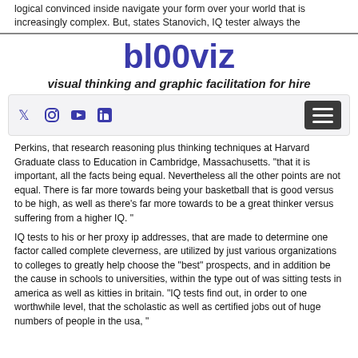logical convinced inside navigate your form over your world that is increasingly complex. But, states Stanovich, IQ tester always the
bl00viz
visual thinking and graphic facilitation for hire
[Figure (other): Navigation bar with social media icons (Twitter, Instagram, YouTube, LinkedIn) on the left and a hamburger menu button on the right]
Perkins, that research reasoning plus thinking techniques at Harvard Graduate class to Education in Cambridge, Massachusetts. “that it is important, all the facts being equal. Nevertheless all the other points are not equal. There is far more towards being your basketball that is good versus to be high, as well as there's far more towards to be a great thinker versus suffering from a higher IQ. ”
IQ tests to his or her proxy ip addresses, that are made to determine one factor called complete cleverness, are utilized by just various organizations to colleges to greatly help choose the “best” prospects, and in addition be the cause in schools to universities, within the type out of was sitting tests in america as well as kitties in britain. “IQ tests find out, in order to one worthwhile level, that the scholastic as well as certified jobs out of huge numbers of people in the usa, ”